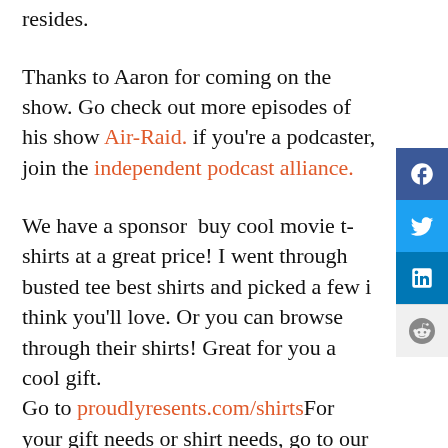resides.
Thanks to Aaron for coming on the show. Go check out more episodes of his show Air-Raid. if you're a podcaster, join the independent podcast alliance.
We have a sponsor  buy cool movie t-shirts at a great price! I went through busted tee best shirts and picked a few i think you'll love. Or you can browse through their shirts! Great for you a cool gift. Go to proudlyresents.com/shirtsFor your gift needs or shirt needs, go to our busted tee webstore proudlyresents.com/shirts. If you can leave a 5 star review on itunes, that would be awesome. Tell a friend about the show. Eat your vegetables.